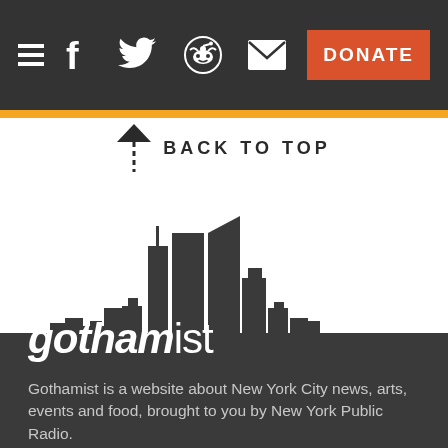Navigation bar with hamburger menu, social icons (Facebook, Twitter, Reddit, Email), and DONATE button
BACK TO TOP
[Figure (illustration): Gothamist city skyline silhouette logo in dark gray showing New York City buildings against white background, with Gothamist wordmark below]
gothamist
Gothamist is a website about New York City news, arts, events and food, brought to you by New York Public Radio.